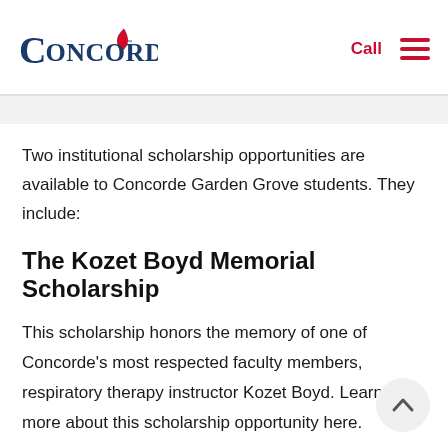Concorde — Call
Two institutional scholarship opportunities are available to Concorde Garden Grove students. They include:
The Kozet Boyd Memorial Scholarship
This scholarship honors the memory of one of Concorde's most respected faculty members, respiratory therapy instructor Kozet Boyd. Learn more about this scholarship opportunity here.